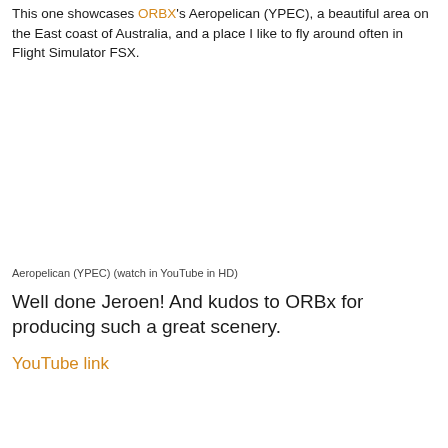This one showcases ORBX's Aeropelican (YPEC), a beautiful area on the East coast of Australia, and a place I like to fly around often in Flight Simulator FSX.
Aeropelican (YPEC) (watch in YouTube in HD)
Well done Jeroen! And kudos to ORBx for producing such a great scenery.
YouTube link